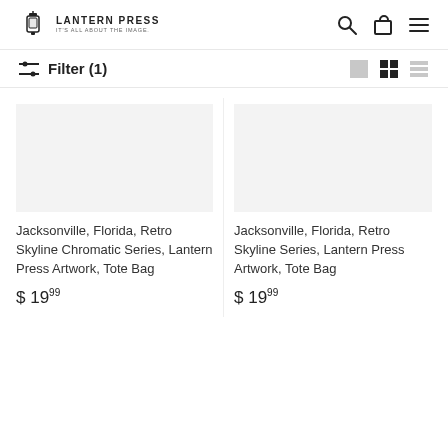Lantern Press — It's All About the Image. [Logo + nav icons]
Filter (1)
Jacksonville, Florida, Retro Skyline Chromatic Series, Lantern Press Artwork, Tote Bag
$ 19.99
Jacksonville, Florida, Retro Skyline Series, Lantern Press Artwork, Tote Bag
$ 19.99